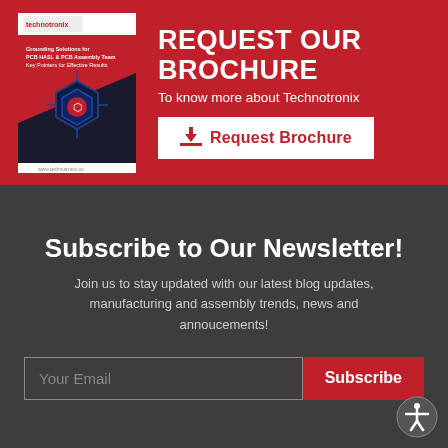[Figure (illustration): Technotronix brochure cover image showing a circuit board with hexagonal design elements in red and dark blue/black colors]
REQUEST OUR BROCHURE
To know more about Technotronix
Request Brochure
Subscribe to Our Newsletter!
Join us to stay updated with our latest blog updates, manufacturing and assembly trends, news and annoucements!
Your Email
Subscribe